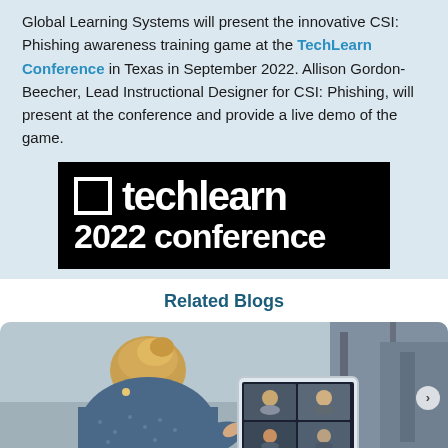Global Learning Systems will present the innovative CSI: Phishing awareness training game at the TechLearn Conference in Texas in September 2022. Allison Gordon-Beecher, Lead Instructional Designer for CSI: Phishing, will present at the conference and provide a live demo of the game.
[Figure (logo): TechLearn 2022 Conference logo — white text on black background with a small square outline icon to the left of 'techlearn' and '2022 conference' below]
Related Blogs
[Figure (photo): Photo of a woman from behind, holding a tablet showing a video conference call with multiple participants in a grid layout]